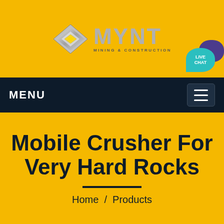[Figure (logo): MYNT Mining & Construction logo with a silver diamond shape icon and metallic MYNT text]
MENU
Mobile Crusher For Very Hard Rocks
Home  /  Products